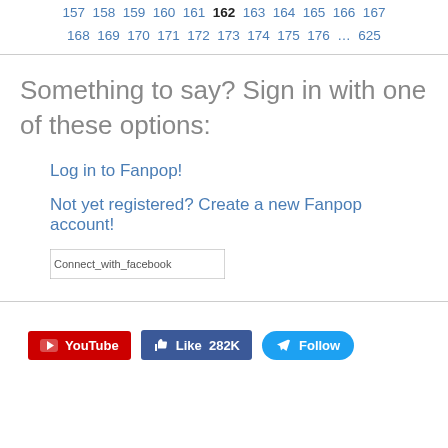157 158 159 160 161 162 163 164 165 166 167 168 169 170 171 172 173 174 175 176 ... 625
Something to say? Sign in with one of these options:
Log in to Fanpop!
Not yet registered? Create a new Fanpop account!
[Figure (other): Connect with Facebook button image placeholder]
[Figure (other): Social media buttons: YouTube, Like 282K, Follow]